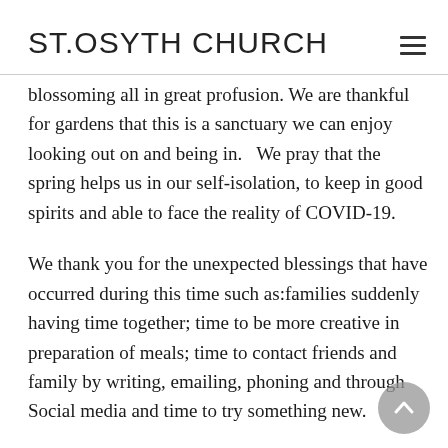ST.OSYTH CHURCH
blossoming all in great profusion. We are thankful for gardens that this is a sanctuary we can enjoy looking out on and being in.  We pray that the spring helps us in our self-isolation, to keep in good spirits and able to face the reality of COVID-19.
We thank you for the unexpected blessings that have occurred during this time such as:families suddenly having time together; time to be more creative in preparation of meals; time to contact friends and family by writing, emailing, phoning and through Social media and time to try something new.